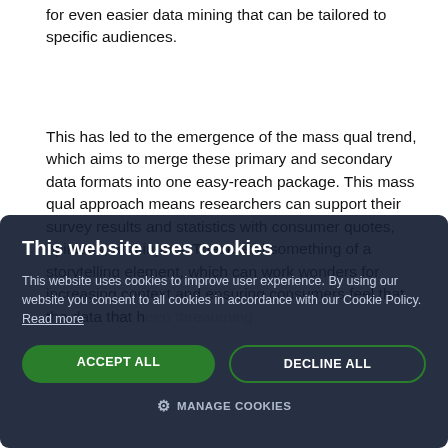for even easier data mining that can be tailored to specific audiences.
This has led to the emergence of the mass qual trend, which aims to merge these primary and secondary data formats into one easy-reach package. This mass qual approach means researchers can support their survey results and statistics with consumer quotes, opinions, and inputs. These add something of a storytelling element, which can work wonders for increasing [content partially obscured] been threatening
[Figure (screenshot): Cookie consent modal dialog with dark navy background. Title: 'This website uses cookies'. Body text: 'This website uses cookies to improve user experience. By using our website you consent to all cookies in accordance with our Cookie Policy. Read more'. Two buttons: green 'ACCEPT ALL' and outlined 'DECLINE ALL'. Below: gear icon with 'MANAGE COOKIES' text.]
[partially visible] eans that this [partially visible] ightest. For [partially visible] antitative [partially visible] ervices and facial [partially visible] er insight in less
[partially visible] nificant data [partially visible] research has [partially visible] g on simplification and integration at every stage, research methods can continue to provide invaluable insight with ease, and may